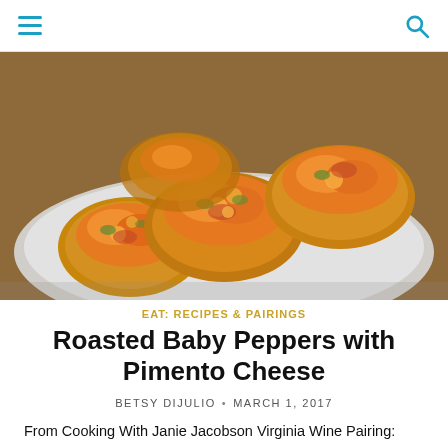☰  🔍
[Figure (photo): Close-up photo of roasted baby peppers topped with pimento cheese mixture served on toast rounds on a white plate]
EAT: RECIPES & PAIRINGS
Roasted Baby Peppers with Pimento Cheese
BETSY DIJULIO • MARCH 1, 2017
From Cooking With Janie Jacobson Virginia Wine Pairing: Williamsburg Winery Two Shilling Red Zinfandel Serves 4–6 Ingredients 8–10 baby sweet peppers, cut in half